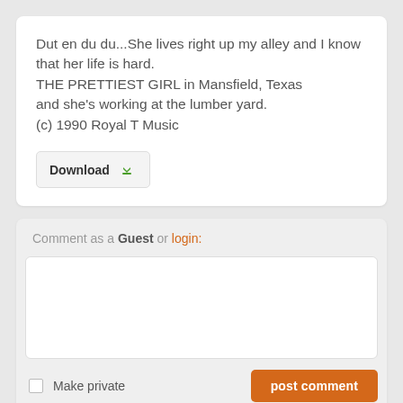Dut en du du...She lives right up my alley and I know that her life is hard.
THE PRETTIEST GIRL in Mansfield, Texas
and she's working at the lumber yard.
(c) 1990 Royal T Music
[Figure (other): Download button with green download icon]
Comment as a Guest or login:
(empty comment textarea)
Make private
post comment